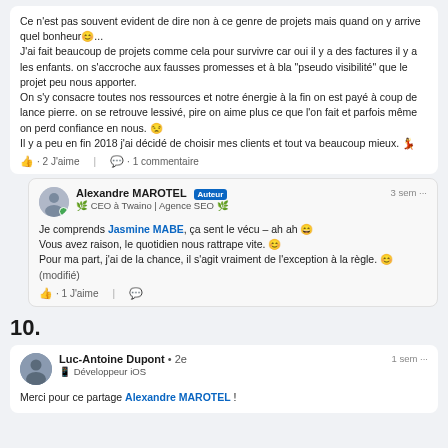Ce n'est pas souvent evident de dire non à ce genre de projets mais quand on y arrive quel bonheur😊...
 J'ai fait beaucoup de projets comme cela pour survivre car oui il y a des factures il y a les enfants. on s'accroche aux fausses promesses et à bla "pseudo visibilité" que le projet peu nous apporter.
 On s'y consacre toutes nos ressources et notre énergie à la fin on est payé à coup de lance pierre. on se retrouve lessivé, pire on aime plus ce que l'on fait et parfois même on perd confiance en nous. 😒
Il y a peu en fin 2018 j'ai décidé de choisir mes clients et tout va beaucoup mieux. 💃
👍 · 2 J'aime | 💬 · 1 commentaire
Alexandre MAROTEL [Auteur] 🌿 CEO à Twaino | Agence SEO 🌿 3 sem ...
Je comprends Jasmine MABE, ça sent le vécu – ah ah 😄
Vous avez raison, le quotidien nous rattrape vite. 😊
Pour ma part, j'ai de la chance, il s'agit vraiment de l'exception à la règle. 😊 (modifié)
👍 · 1 J'aime | 💬
10.
Luc-Antoine Dupont • 2e 📱 Développeur iOS 1 sem ...
Merci pour ce partage Alexandre MAROTEL !